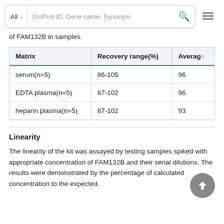All | UniProt ID, Gene name, Synonym
of FAM132B in samples.
| Matrix | Recovery range(%) | Average |
| --- | --- | --- |
| serum(n=5) | 86-105 | 96 |
| EDTA plasma(n=5) | 87-102 | 96 |
| heparin plasma(n=5) | 87-102 | 93 |
Linearity
The linearity of the kit was assayed by testing samples spiked with appropriate concentration of FAM132B and their serial dilutions. The results were demonstrated by the percentage of calculated concentration to the expected.